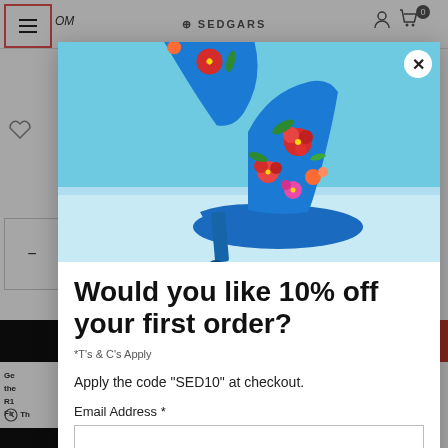[Figure (screenshot): Background e-commerce website page showing navigation bar with hamburger menu, search icon, Sedgars logo, user/cart icons, wishlist icon, quantity selector, black add-to-cart button, and partial product page text]
[Figure (photo): Modal popup showing blue floral high-heel stiletto shoes on a light blue background. The shoes are decorated with colorful flower patterns in red, pink, orange, and green on a royal blue fabric base.]
Would you like 10% off your first order?
*T's & C's Apply
Apply the code "SED10" at checkout.
Email Address *